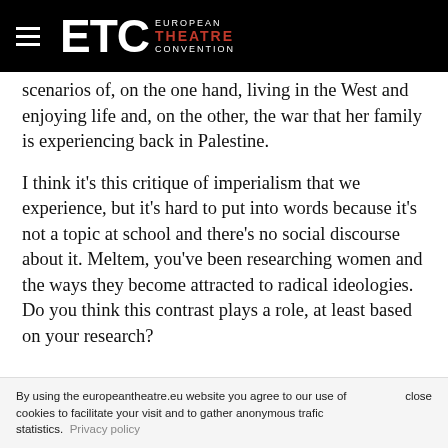ETC European Theatre Convention
scenarios of, on the one hand, living in the West and enjoying life and, on the other, the war that her family is experiencing back in Palestine.
I think it’s this critique of imperialism that we experience, but it’s hard to put into words because it’s not a topic at school and there’s no social discourse about it. Meltem, you’ve been researching women and the ways they become attracted to radical ideologies. Do you think this contrast plays a role, at least based on your research?
Dr. Meltem Kulaçatan: It does. But it’s not the only
By using the europeantheatre.eu website you agree to our use of cookies to facilitate your visit and to gather anonymous trafic statistics. Privacy policy   close